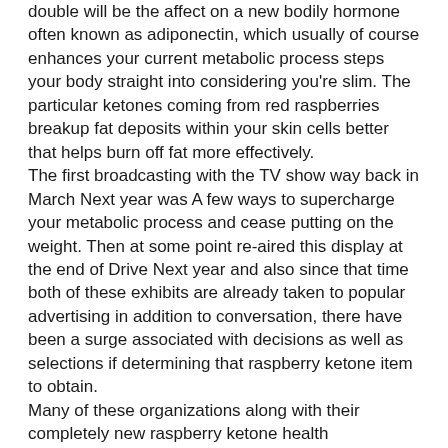double will be the affect on a new bodily hormone often known as adiponectin, which usually of course enhances your current metabolic process steps your body straight into considering you're slim. The particular ketones coming from red raspberries breakup fat deposits within your skin cells better that helps burn off fat more effectively. The first broadcasting with the TV show way back in March Next year was A few ways to supercharge your metabolic process and cease putting on the weight. Then at some point re-aired this display at the end of Drive Next year and also since that time both of these exhibits are already taken to popular advertising in addition to conversation, there have been a surge associated with decisions as well as selections if determining that raspberry ketone item to obtain. Many of these organizations along with their completely new raspberry ketone health supplements are only attempting to take advantage of the excitement plus enthusiasm developed by Physician Oz of. As a way to get the highest possible health improvements raspberry ketones can provide towards unwanted weight decline desired goals, you have to choose between a credible business who resources their 100 % natural ingredients